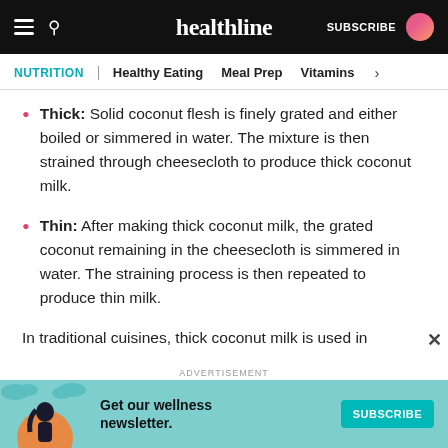healthline — NUTRITION | Healthy Eating | Meal Prep | Vitamins
Thick: Solid coconut flesh is finely grated and either boiled or simmered in water. The mixture is then strained through cheesecloth to produce thick coconut milk.
Thin: After making thick coconut milk, the grated coconut remaining in the cheesecloth is simmered in water. The straining process is then repeated to produce thin milk.
In traditional cuisines, thick coconut milk is used in
[Figure (infographic): Advertisement banner: teal background with illustration of a woman and clouds, text 'Get our wellness newsletter.' with a teal SUBSCRIBE button]